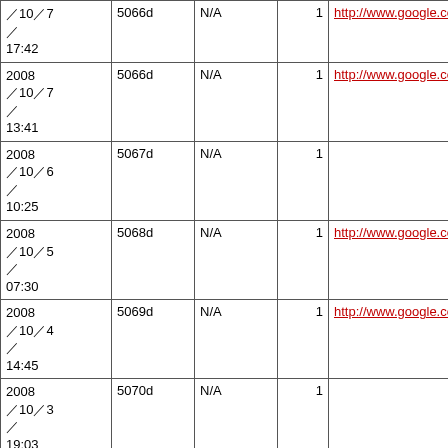| Date | ID | Type | Count | URL |
| --- | --- | --- | --- | --- |
| 2008/10/7
17:42 | 5066d | N/A | 1 | http://www.google.co.jp/se... |
| 2008/10/7
13:41 | 5066d | N/A | 1 | http://www.google.com/sea... |
| 2008/10/6
10:25 | 5067d | N/A | 1 |  |
| 2008/10/5
07:30 | 5068d | N/A | 1 | http://www.google.co.jp/hw... |
| 2008/10/4
14:45 | 5069d | N/A | 1 | http://www.google.co.jp/se... |
| 2008/10/3
19:03 | 5070d | N/A | 1 |  |
| 2008... |  |  |  |  |